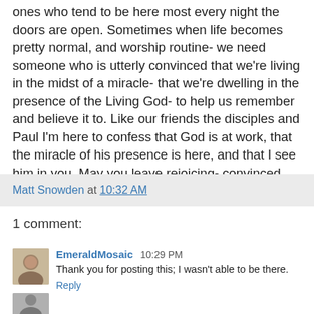ones who tend to be here most every night the doors are open. Sometimes when life becomes pretty normal, and worship routine- we need someone who is utterly convinced that we're living in the midst of a miracle- that we're dwelling in the presence of the Living God- to help us remember and believe it to. Like our friends the disciples and Paul I'm here to confess that God is at work, that the miracle of his presence is here, and that I see him in you. May you leave rejoicing- convinced once again, that God is in place.
Matt Snowden at 10:32 AM
1 comment:
[Figure (photo): Small avatar photo of a person]
EmeraldMosaic 10:29 PM
Thank you for posting this; I wasn't able to be there.
Reply